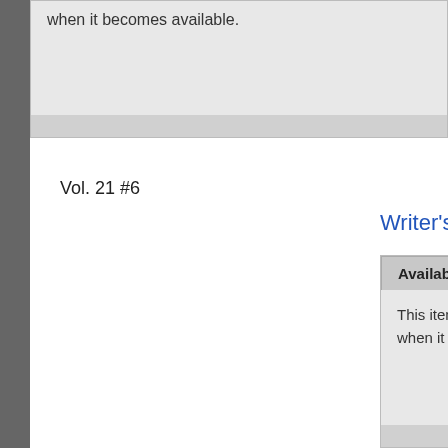when it becomes available.
Vol. 21 #6
Writer's Digest (1921-Present F+W Pub...
Available Stock
Add to want list
This item is not in stock at MyComicShop. If yo... when it becomes available.
Vol. 21 #7
Writer's Digest (1921-Present F+W Pub...
Available Stock
Add to want list
This item is not in stock at MyComicShop. If yo... when it becomes available.